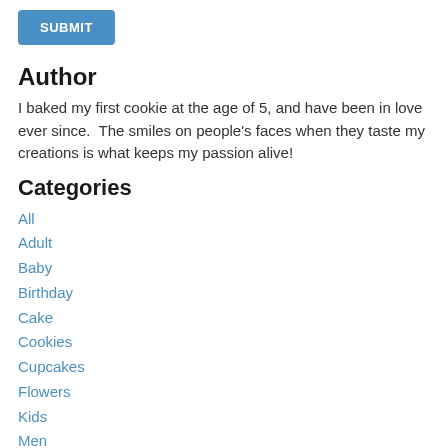[Figure (other): Blue SUBMIT button]
Author
I baked my first cookie at the age of 5, and have been in love ever since.  The smiles on people's faces when they taste my creations is what keeps my passion alive!
Categories
All
Adult
Baby
Birthday
Cake
Cookies
Cupcakes
Flowers
Kids
Men
Novelty
Religious